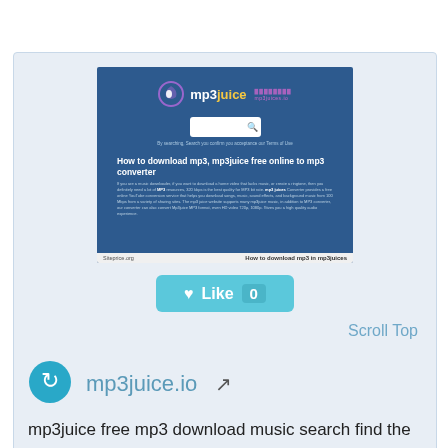[Figure (screenshot): Screenshot of mp3juice.io website showing the homepage with logo, search bar, and article about how to download mp3 using mp3juice free online converter]
❤ Like 0
Scroll Top
[Figure (logo): mp3juice.io circular refresh/sync icon logo in teal/cyan color]
mp3juice.io
mp3juice free mp3 download music search find the best on our latest songs and download them easily. mp3juice.io is easy without registration, download without limits for free. other videos as mp3